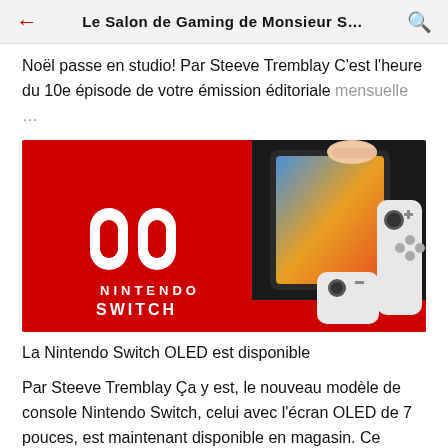← Le Salon de Gaming de Monsieur S… 🔍
Noël passe en studio! Par Steeve Tremblay C'est l'heure du 10e épisode de votre émission éditoriale mensuelle …
[Figure (photo): Nintendo Switch OLED promotional image showing the console with white Joy-Con controllers on a red background with the Nintendo Switch logo]
La Nintendo Switch OLED est disponible
Par Steeve Tremblay Ça y est, le nouveau modèle de console Nintendo Switch, celui avec l'écran OLED de 7 pouces, est maintenant disponible en magasin. Ce modèle